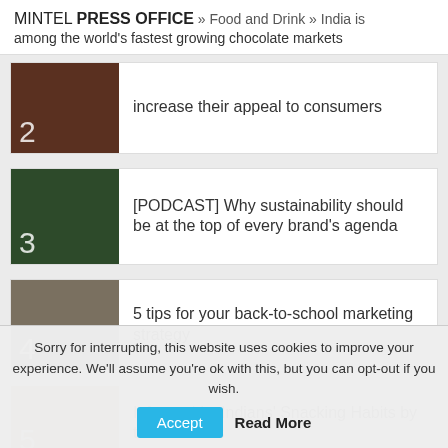MINTEL PRESS OFFICE » Food and Drink » India is among the world's fastest growing chocolate markets
2 — increase their appeal to consumers
3 — [PODCAST] Why sustainability should be at the top of every brand's agenda
4 — 5 tips for your back-to-school marketing strategy
5 — Infographic: Indians' Snacking Habits by the Numbers
Sorry for interrupting, this website uses cookies to improve your experience. We'll assume you're ok with this, but you can opt-out if you wish. Accept Read More